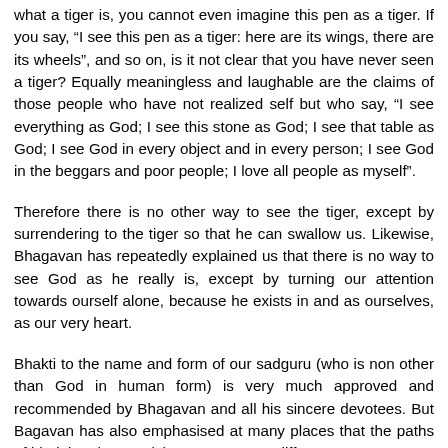what a tiger is, you cannot even imagine this pen as a tiger. If you say, “I see this pen as a tiger: here are its wings, there are its wheels”, and so on, is it not clear that you have never seen a tiger? Equally meaningless and laughable are the claims of those people who have not realized self but who say, “I see everything as God; I see this stone as God; I see that table as God; I see God in every object and in every person; I see God in the beggars and poor people; I love all people as myself”.
Therefore there is no other way to see the tiger, except by surrendering to the tiger so that he can swallow us. Likewise, Bhagavan has repeatedly explained us that there is no way to see God as he really is, except by turning our attention towards ourself alone, because he exists in and as ourselves, as our very heart.
Bhakti to the name and form of our sadguru (who is non other than God in human form) is very much approved and recommended by Bhagavan and all his sincere devotees. But Bagavan has also emphasised at many places that the paths of bhakti and atma-vichara are not two different